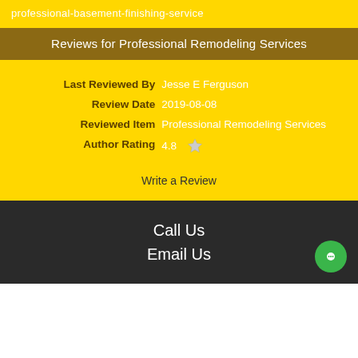professional-basement-finishing-service
Reviews for Professional Remodeling Services
| Last Reviewed By | Jesse E Ferguson |
| Review Date | 2019-08-08 |
| Reviewed Item | Professional Remodeling Services |
| Author Rating | 4.8 |
Write a Review
Call Us
Email Us